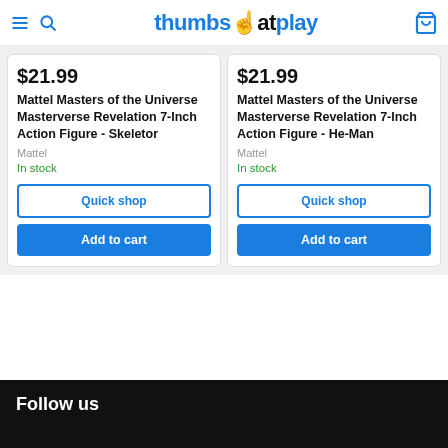thumbsatplay
$21.99
Mattel Masters of the Universe Masterverse Revelation 7-Inch Action Figure - Skeletor
Mattel
In stock
$21.99
Mattel Masters of the Universe Masterverse Revelation 7-Inch Action Figure - He-Man
Mattel
In stock
Follow us